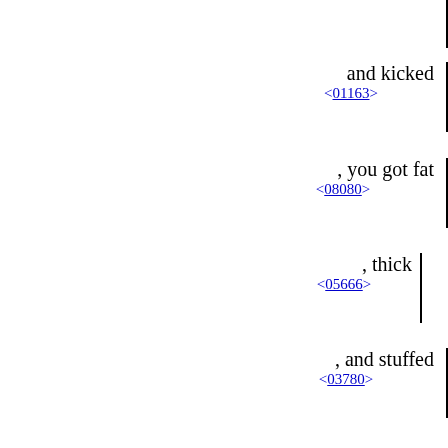and kicked <01163>
, you got fat <08080>
, thick <05666>
, and stuffed <03780>
! Then he deserted <05203>
the God <0433>
who made <06213>
him, and treated <05034>
the Rock <06697>